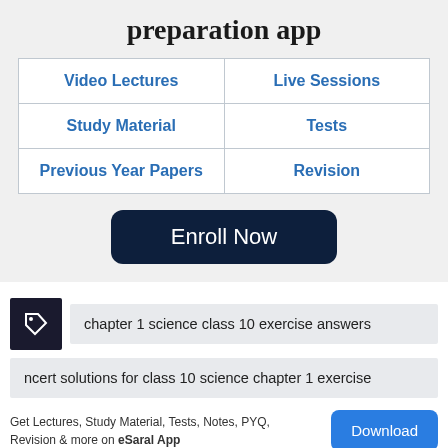preparation app
| Video Lectures | Live Sessions |
| Study Material | Tests |
| Previous Year Papers | Revision |
Enroll Now
chapter 1 science class 10 exercise answers
ncert solutions for class 10 science chapter 1 exercise
Get Lectures, Study Material, Tests, Notes, PYQ, Revision & more on eSaral App
Download